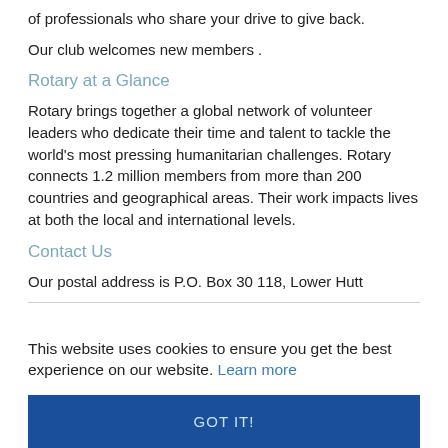of professionals who share your drive to give back.
Our club welcomes new members .
Rotary at a Glance
Rotary brings together a global network of volunteer leaders who dedicate their time and talent to tackle the world's most pressing humanitarian challenges. Rotary connects 1.2 million members from more than 200 countries and geographical areas. Their work impacts lives at both the local and international levels.
Contact Us
Our postal address is P.O. Box 30 118, Lower Hutt
This website uses cookies to ensure you get the best experience on our website. Learn more
GOT IT!